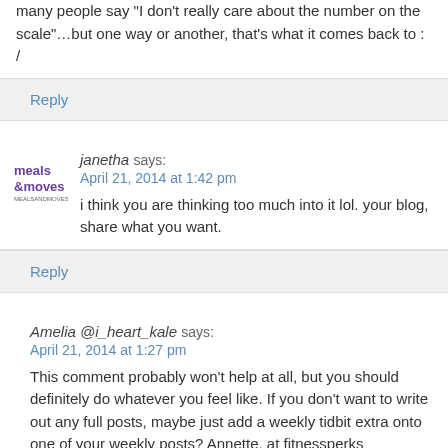many people say “I don’t really care about the number on the scale”…but one way or another, that’s what it comes back to : /
Reply
janetha says:
April 21, 2014 at 1:42 pm
i think you are thinking too much into it lol. your blog, share what you want.
Reply
Amelia @i_heart_kale says:
April 21, 2014 at 1:27 pm
This comment probably won’t help at all, but you should definitely do whatever you feel like. If you don’t want to write out any full posts, maybe just add a weekly tidbit extra onto one of your weekly posts? Annette, at fitnessperks measured her progress post baby by